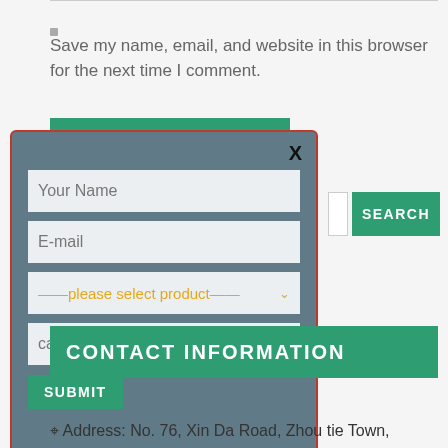Save my name, email, and website in this browser for the next time I comment.
[Figure (screenshot): POST COMMENT green button, partially visible at top]
[Figure (screenshot): Modal popup form with fields: Your Name, E-mail, product select dropdown, capacity, and SUBMIT button. Has X close button and red border outline.]
[Figure (screenshot): Search input box with SEARCH green button]
CONTACT INFORMATION
Address: No. 76, Xin Da Road, Zhou tie Town,